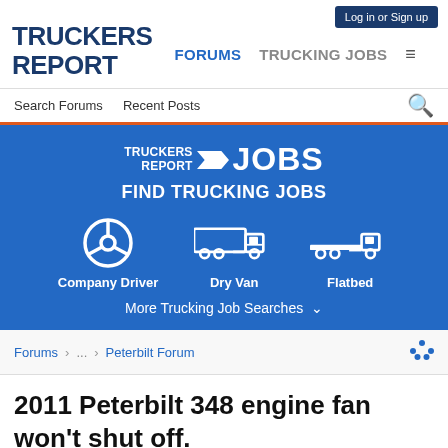TRUCKERS REPORT | FORUMS | TRUCKING JOBS | Log in or Sign up
Search Forums   Recent Posts
[Figure (infographic): Truckers Report Jobs advertisement banner with blue background. Shows 'TRUCKERS REPORT JOBS - FIND TRUCKING JOBS' heading with icons for Company Driver, Dry Van, and Flatbed categories, plus 'More Trucking Job Searches' link.]
Forums > ... > Peterbilt Forum
2011 Peterbilt 348 engine fan won't shut off.